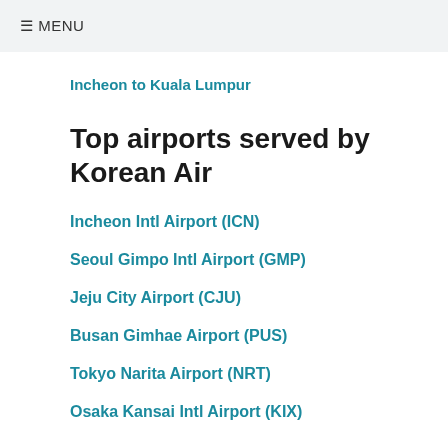≡ MENU
Incheon to Kuala Lumpur
Top airports served by Korean Air
Incheon Intl Airport (ICN)
Seoul Gimpo Intl Airport (GMP)
Jeju City Airport (CJU)
Busan Gimhae Airport (PUS)
Tokyo Narita Airport (NRT)
Osaka Kansai Intl Airport (KIX)